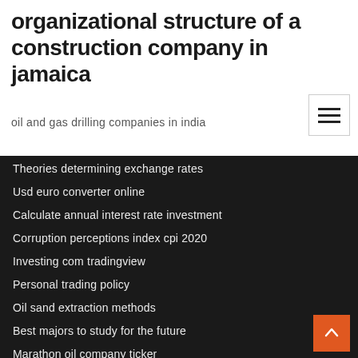organizational structure of a construction company in jamaica
oil and gas drilling companies in india
Theories determining exchange rates
Usd euro converter online
Calculate annual interest rate investment
Corruption perceptions index cpi 2020
Investing com tradingview
Personal trading policy
Oil sand extraction methods
Best majors to study for the future
Marathon oil company ticker